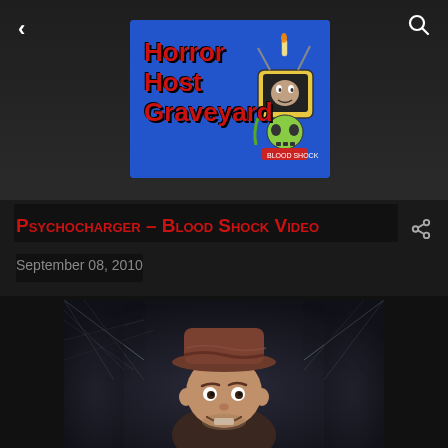Horror Host Graveyard
Psychocharger – Blood Shock Video
September 08, 2010
[Figure (photo): A person wearing a brown hat with braided/woven texture, smiling, surrounded by cobwebs in a dark spooky setting]